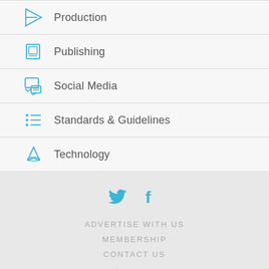Production
Publishing
Social Media
Standards & Guidelines
Technology
[Figure (other): Twitter and Facebook social media icons in blue]
ADVERTISE WITH US
MEMBERSHIP
CONTACT US
[Figure (other): Partial circular stamp/logo text at bottom]